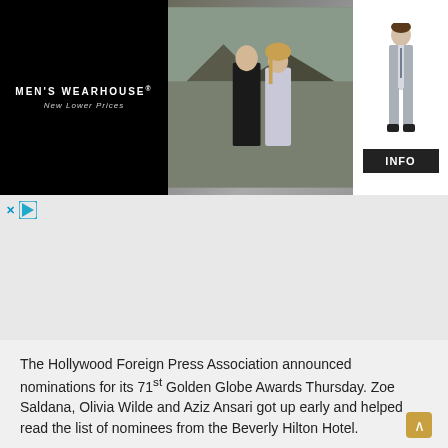[Figure (photo): Men's Wearhouse advertisement banner showing a couple in formal wear on the left photo section, and a boy in a grey suit on the right, with an INFO button. Black background on left with brand name and tagline.]
The Hollywood Foreign Press Association announced nominations for its 71st Golden Globe Awards Thursday. Zoe Saldana, Olivia Wilde and Aziz Ansari got up early and helped read the list of nominees from the Beverly Hilton Hotel.